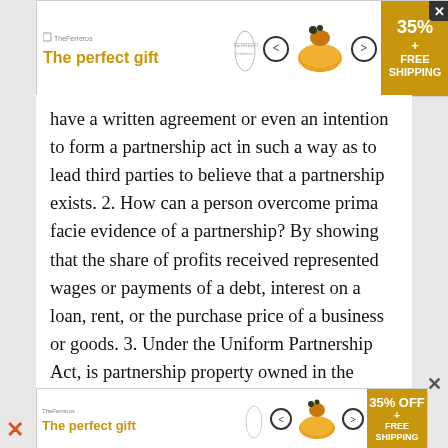[Figure (other): Advertisement banner: 'The perfect gift' with bowl imagery and 35% FREE SHIPPING offer]
have a written agreement or even an intention to form a partnership act in such a way as to lead third parties to believe that a partnership exists. 2. How can a person overcome prima facie evidence of a partnership? By showing that the share of profits received represented wages or payments of a debt, interest on a loan, rent, or the purchase price of a business or goods. 3. Under the Uniform Partnership Act, is partnership property owned in the name of the partnership or in the names of the partners? Under the Uniform Partnership Act, any partnership property, whether real or personal, may be owned either in the names of the partners or in the name of the firm. 4. What can personal creditors of one partner do to try to collect the partners debt form the partnership? The
[Figure (other): Advertisement banner: 'The perfect gift' with bowl imagery and 35% OFF FREE SHIPPING offer]